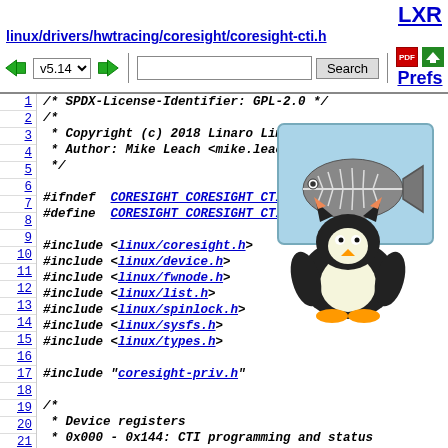LXR
linux/drivers/hwtracing/coresight/coresight-cti.h
v5.14  Search  Prefs
[Figure (illustration): Tux the Linux penguin holding a screen showing a fish skeleton / X-ray image]
1  /* SPDX-License-Identifier: GPL-2.0 */
2  /*
3   * Copyright (c) 2018 Linaro Limited. All rights re
4   * Author: Mike Leach <mike.leach@linaro.org>
5   * /
6  
7  #ifndef CORESIGHT_CORESIGHT_CTI_H
8  #define CORESIGHT_CORESIGHT_CTI_H
9  
10 #include <linux/coresight.h>
11 #include <linux/device.h>
12 #include <linux/fwnode.h>
13 #include <linux/list.h>
14 #include <linux/spinlock.h>
15 #include <linux/sysfs.h>
16 #include <linux/types.h>
17 
18 #include "coresight-priv.h"
19 
20 /*
21  * Device registers
22  * 0x000 - 0x144: CTI programming and status
23  * 0xEDC - 0xEF8: CTI integration test.